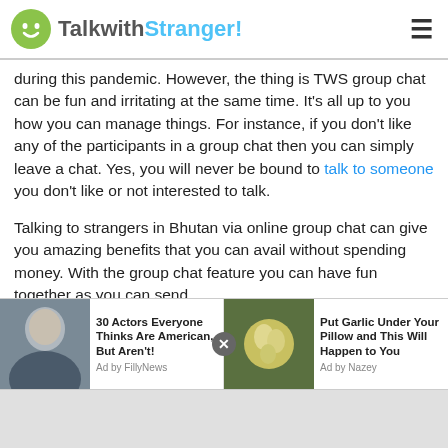TalkwithStranger!
during this pandemic. However, the thing is TWS group chat can be fun and irritating at the same time. It's all up to you how you can manage things. For instance, if you don't like any of the participants in a group chat then you can simply leave a chat. Yes, you will never be bound to talk to someone you don't like or not interested to talk.
Talking to strangers in Bhutan via online group chat can give you amazing benefits that you can avail without spending money. With the group chat feature you can have fun together as you can send
[Figure (screenshot): Advertisement bar with two ad items: '30 Actors Everyone Thinks Are American, But Aren't! Ad by FillyNews' and 'Put Garlic Under Your Pillow and This Will Happen to You Ad by Nazey']